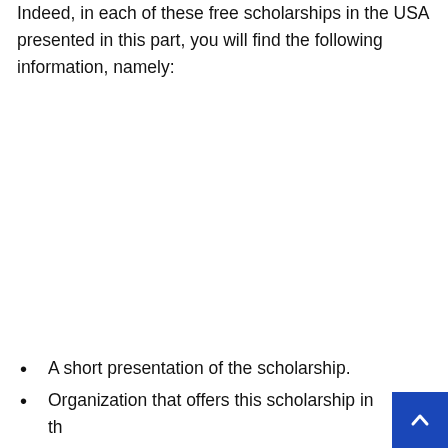Indeed, in each of these free scholarships in the USA presented in this part, you will find the following information, namely:
A short presentation of the scholarship.
Organization that offers this scholarship in the USA.